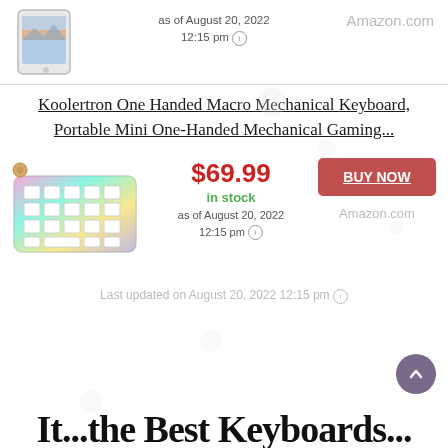[Figure (photo): iPad Air product image - white tablet showing landscape wallpaper]
as of August 20, 2022
12:15 pm ⓘ
Amazon.com
Koolertron One Handed Macro Mechanical Keyboard, Portable Mini One-Handed Mechanical Gaming...
[Figure (photo): Koolertron one-handed RGB mechanical gaming keyboard with colorful backlit keys]
$69.99
in stock
as of August 20, 2022
12:15 pm ⓘ
BUY NOW
Amazon.com
Last updated on August 20, 2022 12:15 pm ⓘ
It...the Best Keyboards...